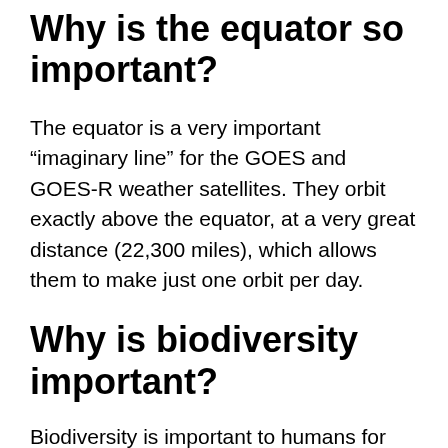Why is the equator so important?
The equator is a very important “imaginary line” for the GOES and GOES-R weather satellites. They orbit exactly above the equator, at a very great distance (22,300 miles), which allows them to make just one orbit per day.
Why is biodiversity important?
Biodiversity is important to humans for many reasons. … Ecological life support—biodiversity provides functioning ecosystems that supply oxygen, clean air and water, pollination of plants, pest control…